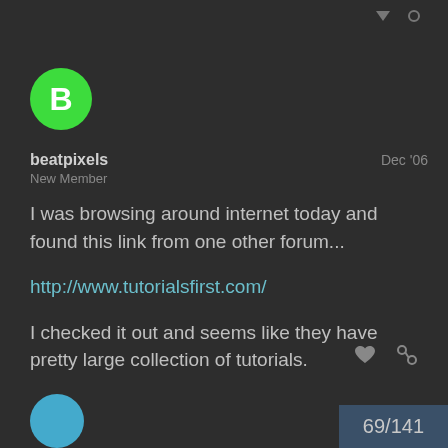[Figure (other): Green circle avatar with letter B for user beatpixels]
beatpixels
New Member
Dec '06
I was browsing around internet today and found this link from one other forum...
http://www.tutorialsfirst.com/
I checked it out and seems like they have pretty large collection of tutorials.
69/141